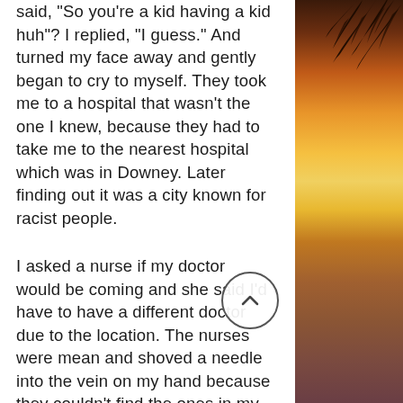said, "So you're a kid having a kid huh"? I replied, "I guess." And turned my face away and gently began to cry to myself. They took me to a hospital that wasn't the one I knew, because they had to take me to the nearest hospital which was in Downey. Later finding out it was a city known for racist people.
I asked a nurse if my doctor would be coming and she said I'd have to have a different doctor due to the location. The nurses were mean and shoved a needle into the vein on my hand because they couldn't find the ones in my arm. Silently I cried more when they left my room, and with so much stress, the beeping sound from a machine next to me stopped for a moment. I was
[Figure (photo): Tropical sunset background image with palm tree fronds visible at top right and a warm golden-orange sunset over water on the right side of the page]